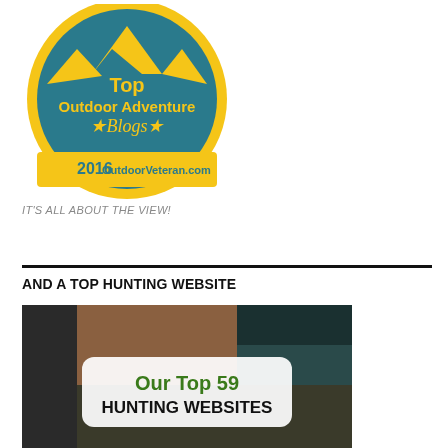[Figure (logo): Top Outdoor Adventure Blogs 2016 OutdoorVeteran.com badge — circular teal and gold badge with mountain silhouette and banner]
IT'S ALL ABOUT THE VIEW!
AND A TOP HUNTING WEBSITE
[Figure (screenshot): Collage of hunting websites with overlay text reading 'Our Top 59 HUNTING WEBSITES']